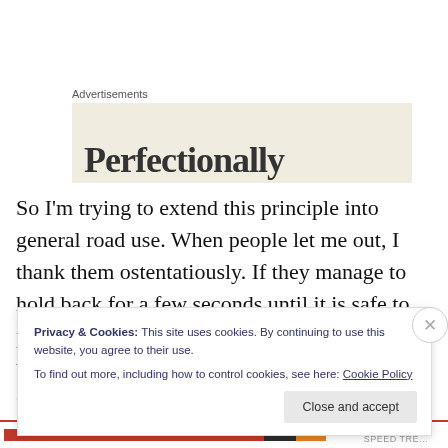Advertisements
[Figure (other): Advertisement banner with beige background showing partial bold text]
So I'm trying to extend this principle into general road use. When people let me out, I thank them ostentatiously. If they manage to hold back for a few seconds until it is safe to pass me, or overtake by pulling right out into the opposite lane, I wave and grin delightedly. Once, at the
Privacy & Cookies: This site uses cookies. By continuing to use this website, you agree to their use.
To find out more, including how to control cookies, see here: Cookie Policy
Close and accept